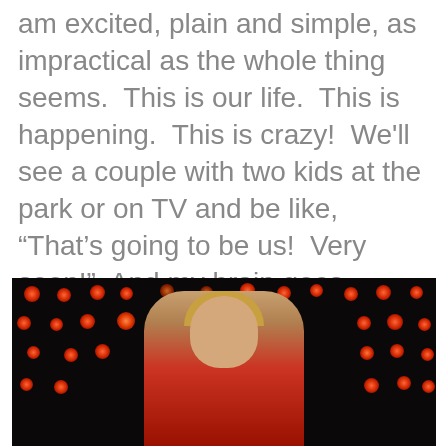am excited, plain and simple, as impractical as the whole thing seems.  This is our life.  This is happening.  This is crazy!  We'll see a couple with two kids at the park or on TV and be like, “That’s going to be us!  Very soon!”  And my brain goes, “Wheeee!” and “Fuuuuuug,” all at the same time.
[Figure (photo): A woman in a red outfit performing on a dark stage with red/orange spotlight dots visible in the background.]